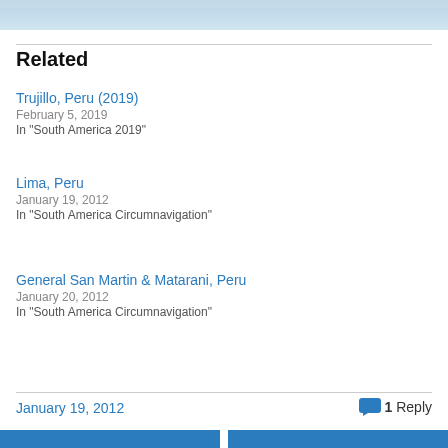[Figure (photo): Partial photo strip at top of page, sky and water visible]
Related
Trujillo, Peru (2019)
February 5, 2019
In "South America 2019"
Lima, Peru
January 19, 2012
In "South America Circumnavigation"
General San Martin & Matarani, Peru
January 20, 2012
In "South America Circumnavigation"
January 19, 2012
1 Reply